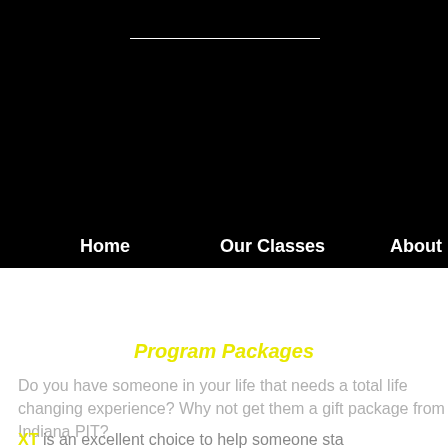Home | Our Classes | About
Program Packages
Do you have someone in your life that needs a total life changing experience? Why not get them a gift package from Indiana PIT?
XT is an excellent choice to help someone sta...